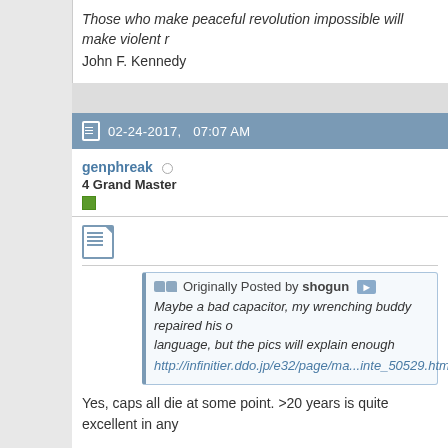Those who make peaceful revolution impossible will make violent r...
John F. Kennedy
02-24-2017,   07:07 AM
genphreak
4 Grand Master
Originally Posted by shogun
Maybe a bad capacitor, my wrenching buddy repaired his o... language, but the pics will explain enough
http://infinitier.ddo.jp/e32/page/ma...inte_50529.htm
Yes, caps all die at some point. >20 years is quite excellent in any
My radio is quiet, as if there is no boost from the amp. It's barely lo
Luckily I have a spare amplifier, so I will swap that in and see if it ju